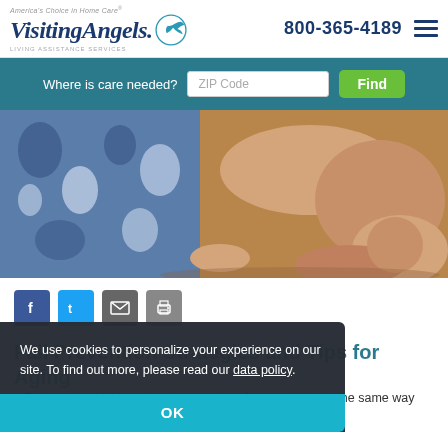Visiting Angels — America's Choice in Home Care — Living Assistance Services — 800-365-4189
Where is care needed? ZIP Code Find
[Figure (photo): Close-up photo showing an elderly person who has fallen on the floor, visible fabric with blue floral pattern and bare skin of legs/arms on a wooden floor background.]
[Figure (infographic): Social sharing icons: Facebook (blue), Twitter (light blue), Email (grey), Print (grey)]
Fall Prevention Strategies and Tips for Aging
r. Balance in walking. e that they can't perform activities in the same way anymore. A
We use cookies to personalize your experience on our site. To find out more, please read our data policy.
OK